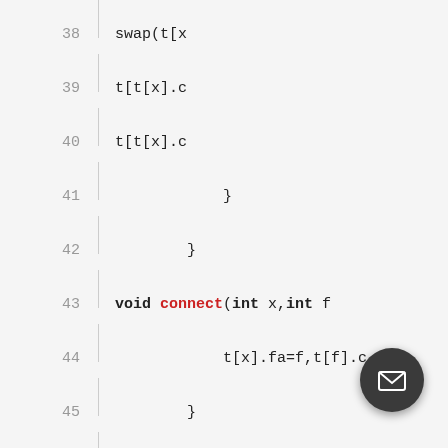[Figure (screenshot): Code editor screenshot showing lines 38-54 of C++ source code implementing tree rotation and connect functions. Line numbers on left, code on right with keywords in bold and function names in red.]